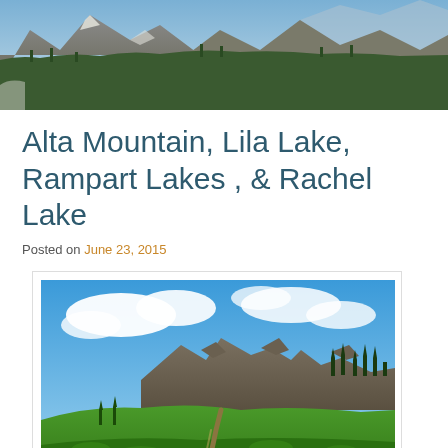[Figure (photo): Panoramic mountain landscape header photo showing rocky peaks, evergreen trees, and a wide valley view from an elevated vantage point.]
Alta Mountain, Lila Lake, Rampart Lakes , & Rachel Lake
Posted on June 23, 2015
[Figure (photo): A hiking trail winds up a grassy alpine meadow ridge toward rocky peaks under a partly cloudy blue sky, with evergreen trees visible on the right.]